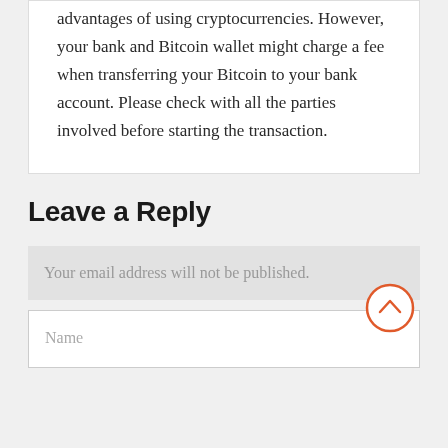advantages of using cryptocurrencies. However, your bank and Bitcoin wallet might charge a fee when transferring your Bitcoin to your bank account. Please check with all the parties involved before starting the transaction.
Leave a Reply
Your email address will not be published.
Name